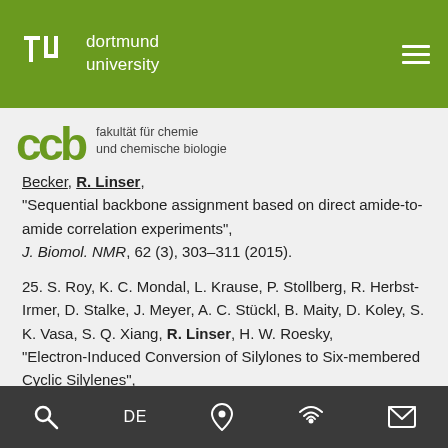TU Dortmund University — Fakultät für Chemie und chemische Biologie
Becker, R. Linser,
"Sequential backbone assignment based on direct amide-to-amide correlation experiments",
J. Biomol. NMR, 62 (3), 303–311 (2015).
25. S. Roy, K. C. Mondal, L. Krause, P. Stollberg, R. Herbst-Irmer, D. Stalke, J. Meyer, A. C. Stückl, B. Maity, D. Koley, S. K. Vasa, S. Q. Xiang, R. Linser, H. W. Roesky, "Electron-Induced Conversion of Silylones to Six-membered Cyclic Silylenes", J. Am. Chem. Soc., 136 (48), 16776–16779 (2014).
Search  DE  Location  Wireless  Mail